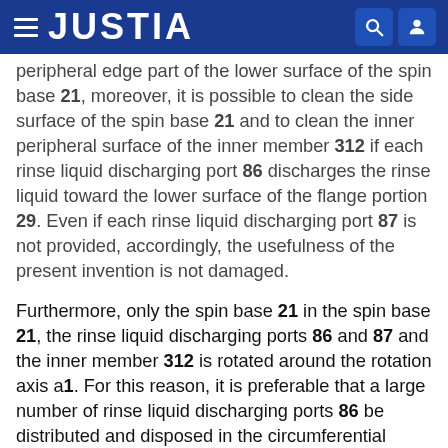JUSTIA
peripheral edge part of the lower surface of the spin base 21, moreover, it is possible to clean the side surface of the spin base 21 and to clean the inner peripheral surface of the inner member 312 if each rinse liquid discharging port 86 discharges the rinse liquid toward the lower surface of the flange portion 29. Even if each rinse liquid discharging port 87 is not provided, accordingly, the usefulness of the present invention is not damaged.
Furthermore, only the spin base 21 in the spin base 21, the rinse liquid discharging ports 86 and 87 and the inner member 312 is rotated around the rotation axis a1. For this reason, it is preferable that a large number of rinse liquid discharging ports 86 be distributed and disposed in the circumferential direction of the spin base 21 because the inner peripheral surface of the inner member 312 can be cleaned more uniformly. Even